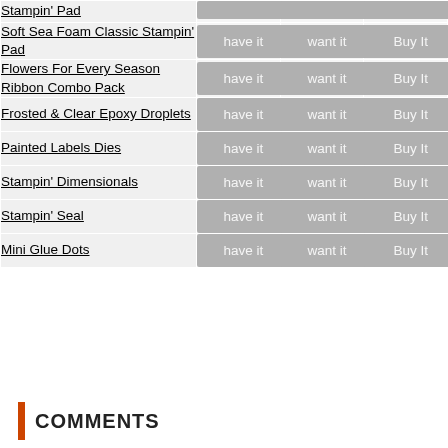| Product | have it | want it | Buy It |
| --- | --- | --- | --- |
| Stampin' Pad |  |  |  |
| Soft Sea Foam Classic Stampin' Pad | have it | want it | Buy It |
| Flowers For Every Season Ribbon Combo Pack | have it | want it | Buy It |
| Frosted & Clear Epoxy Droplets | have it | want it | Buy It |
| Painted Labels Dies | have it | want it | Buy It |
| Stampin' Dimensionals | have it | want it | Buy It |
| Stampin' Seal | have it | want it | Buy It |
| Mini Glue Dots | have it | want it | Buy It |
COMMENTS